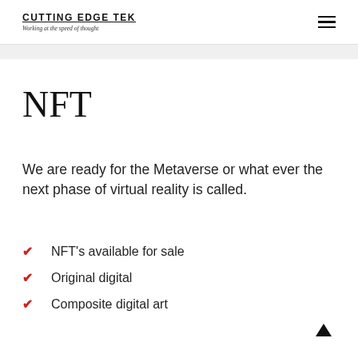CUTTING EDGE TEK — Working at the speed of thought
NFT
We are ready for the Metaverse or what ever the next phase of virtual reality is called.
NFT's available for sale
Original digital
Composite digital art